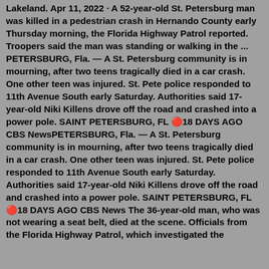Lakeland. Apr 11, 2022 · A 52-year-old St. Petersburg man was killed in a pedestrian crash in Hernando County early Thursday morning, the Florida Highway Patrol reported. Troopers said the man was standing or walking in the ... PETERSBURG, Fla. — A St. Petersburg community is in mourning, after two teens tragically died in a car crash. One other teen was injured. St. Pete police responded to 11th Avenue South early Saturday. Authorities said 17-year-old Niki Killens drove off the road and crashed into a power pole. SAINT PETERSBURG, FL 🔴18 DAYS AGO CBS NewsPETERSBURG, Fla. — A St. Petersburg community is in mourning, after two teens tragically died in a car crash. One other teen was injured. St. Pete police responded to 11th Avenue South early Saturday. Authorities said 17-year-old Niki Killens drove off the road and crashed into a power pole. SAINT PETERSBURG, FL 🔴18 DAYS AGO CBS News The 36-year-old man, who was not wearing a seat belt, died at the scene. Officials from the Florida Highway Patrol, which investigated the